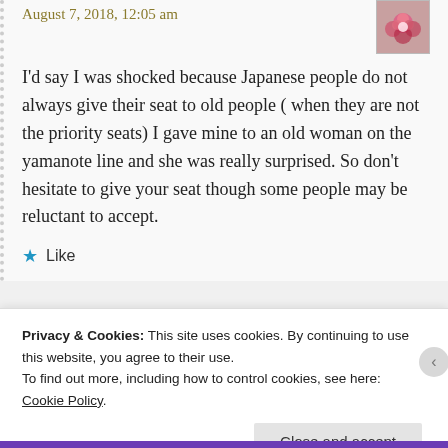August 7, 2018, 12:05 am
I'd say I was shocked because Japanese people do not always give their seat to old people ( when they are not the priority seats) I gave mine to an old woman on the yamanote line and she was really surprised. So don't hesitate to give your seat though some people may be reluctant to accept.
★ Like
Privacy & Cookies: This site uses cookies. By continuing to use this website, you agree to their use.
To find out more, including how to control cookies, see here: Cookie Policy
Close and accept